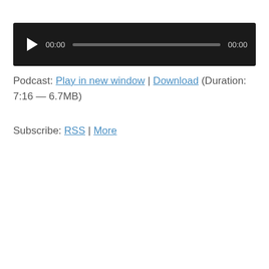[Figure (other): Audio player widget with dark background, play button, progress bar, and time display showing 00:00 on both sides]
Podcast: Play in new window | Download (Duration: 7:16 — 6.7MB)
Subscribe: RSS | More